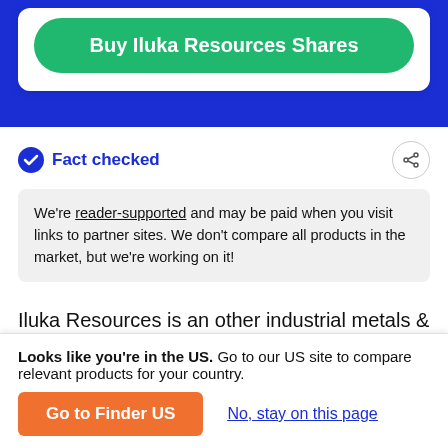Buy Iluka Resources Shares
Fact checked
We're reader-supported and may be paid when you visit links to partner sites. We don't compare all products in the market, but we're working on it!
Iluka Resources is an other industrial metals & mining business based in Australia. Iluka Resources shares (ILU) are listed on the Australian Securities Exchange (ASX) and all
Looks like you're in the US. Go to our US site to compare relevant products for your country.
Go to Finder US
No, stay on this page